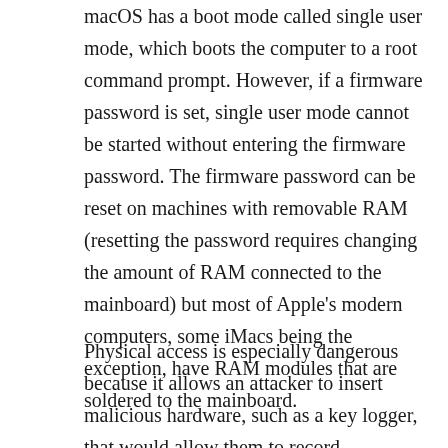macOS has a boot mode called single user mode, which boots the computer to a root command prompt. However, if a firmware password is set, single user mode cannot be started without entering the firmware password. The firmware password can be reset on machines with removable RAM (resetting the password requires changing the amount of RAM connected to the mainboard) but most of Apple's modern computers, some iMacs being the exception, have RAM modules that are soldered to the mainboard.
Physical access is especially dangerous because it allows an attacker to insert malicious hardware, such as a key logger, that would allow them to record everything you type, including your passwords. However, that kind of attack requires some amount of sophistication and time (at least if you want the malicious hardware to be difficult to